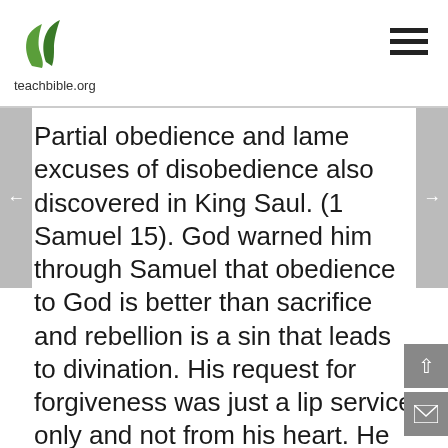[Figure (logo): teachbible.org logo with green leaf icon]
Partial obedience and lame excuses of disobedience also discovered in King Saul. (1 Samuel 15). God warned him through Samuel that obedience to God is better than sacrifice and rebellion is a sin that leads to divination. His request for forgiveness was just a lip service only and not from his heart. He did this only to save his face with the leaders and people of Israel. His repentance was not genuine, and spirit inside of him was not broken in